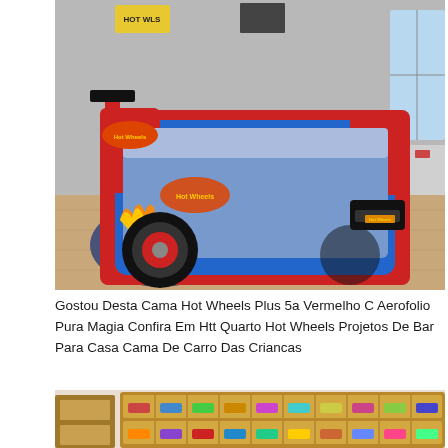[Figure (photo): A Hot Wheels themed race car bed in blue and red with the Hot Wheels logo, placed in a children's bedroom with wooden floor, grey walls, a round dark blue rug, and toy cars on a shelf near a window.]
Gostou Desta Cama Hot Wheels Plus 5a Vermelho C Aerofolio Pura Magia Confira Em Htt Quarto Hot Wheels Projetos De Bar Para Casa Cama De Carro Das Criancas
[Figure (photo): A wooden display shelf/rack filled with small toy cars (Hot Wheels or similar), organized in multiple compartments, with another wooden storage unit visible on the left side.]